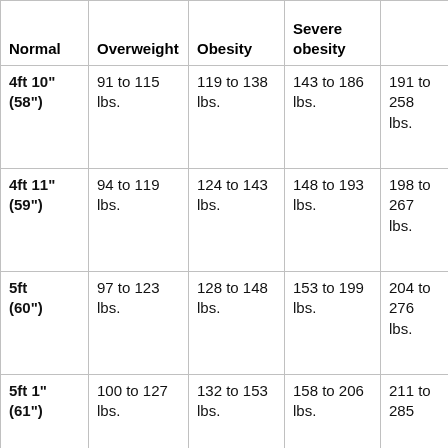| Normal | Overweight | Obesity | Severe obesity |  |
| --- | --- | --- | --- | --- |
| 4ft 10" (58") | 91 to 115 lbs. | 119 to 138 lbs. | 143 to 186 lbs. | 191 to 258 lbs. |
| 4ft 11" (59") | 94 to 119 lbs. | 124 to 143 lbs. | 148 to 193 lbs. | 198 to 267 lbs. |
| 5ft (60") | 97 to 123 lbs. | 128 to 148 lbs. | 153 to 199 lbs. | 204 to 276 lbs. |
| 5ft 1" (61") | 100 to 127 lbs. | 132 to 153 lbs. | 158 to 206 lbs. | 211 to 285 |